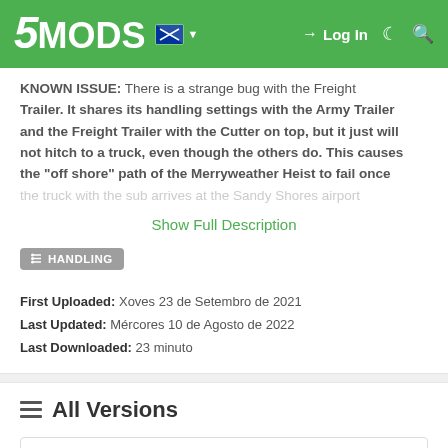5MODS — Log In
KNOWN ISSUE: There is a strange bug with the Freight Trailer. It shares its handling settings with the Army Trailer and the Freight Trailer with the Cutter on top, but it just will not hitch to a truck, even though the others do. This causes the "off shore" path of the Merryweather Heist to fail once the truck with the sub arrives at the Sandy Shores airport
Show Full Description
HANDLING
First Uploaded: Xoves 23 de Setembro de 2021
Last Updated: Mércores 10 de Agosto de 2022
Last Downloaded: 23 minuto
All Versions
1.01a (current)
476 downloads , 70 KB
Mércores 10 de Agosto de 2022